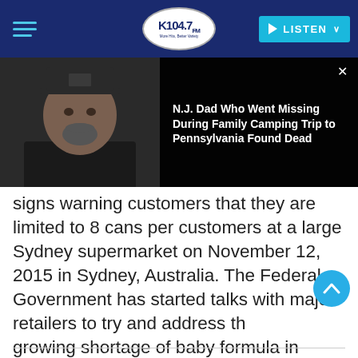[Figure (screenshot): K104.7 FM radio station navigation bar with hamburger menu, K104.7 FM oval logo, and cyan LISTEN button]
[Figure (photo): A man wearing a dark cap and black shirt on a dark background, with an overlay card showing a news headline]
signs warning customers that they are limited to 8 cans per customers at a large Sydney supermarket on November 12, 2015 in Sydney, Australia. The Federal Government has started talks with major retailers to try and address the growing shortage of baby formula in Australia, as Chinese demand outstrips local supplies. (Photo by Christopher Pearce/Getty Images)